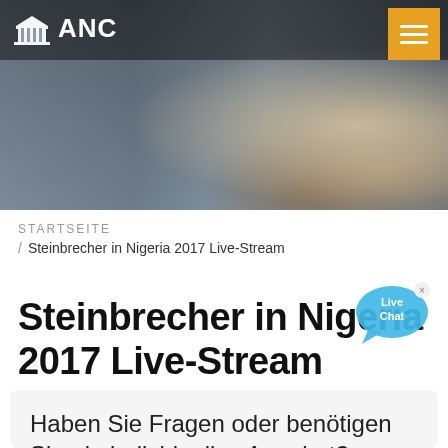[Figure (photo): Header banner with blurred factory/industrial background on left and microphones on right, with ANC logo and hamburger menu overlay]
ANC
STARTSEITE / Steinbrecher in Nigeria 2017 Live-Stream
[Figure (illustration): Live Chat speech bubble icon in blue with 'Live Chat' text and an x close button]
Steinbrecher in Nigeria 2017 Live-Stream
Haben Sie Fragen oder benötigen Sie ein individuelles Angebot?